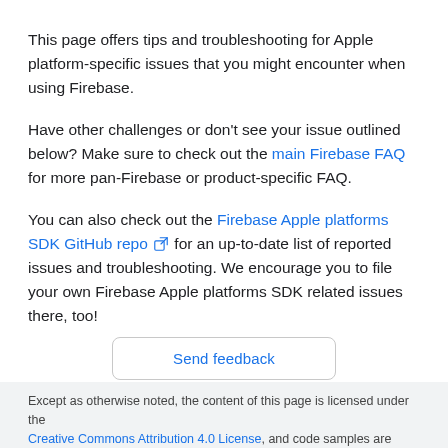This page offers tips and troubleshooting for Apple platform-specific issues that you might encounter when using Firebase.
Have other challenges or don't see your issue outlined below? Make sure to check out the main Firebase FAQ for more pan-Firebase or product-specific FAQ.
You can also check out the Firebase Apple platforms SDK GitHub repo for an up-to-date list of reported issues and troubleshooting. We encourage you to file your own Firebase Apple platforms SDK related issues there, too!
Send feedback
Except as otherwise noted, the content of this page is licensed under the Creative Commons Attribution 4.0 License, and code samples are